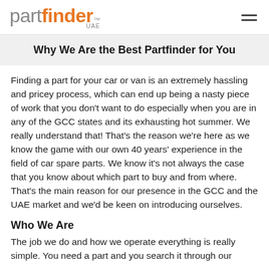partfinder UAE
Why We Are the Best Partfinder for You
Finding a part for your car or van is an extremely hassling and pricey process, which can end up being a nasty piece of work that you don't want to do especially when you are in any of the GCC states and its exhausting hot summer. We really understand that! That's the reason we're here as we know the game with our own 40 years' experience in the field of car spare parts. We know it's not always the case that you know about which part to buy and from where. That's the main reason for our presence in the GCC and the UAE market and we'd be keen on introducing ourselves.
Who We Are
The job we do and how we operate everything is really simple. You need a part and you search it through our